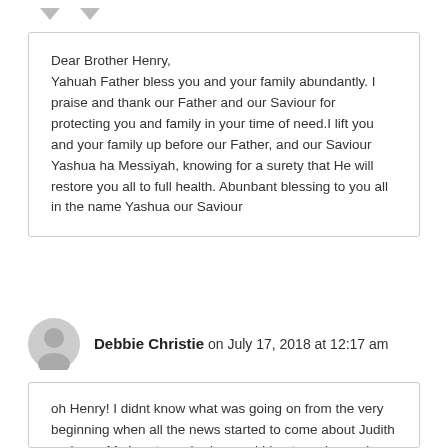Dear Brother Henry,
Yahuah Father bless you and your family abundantly. I praise and thank our Father and our Saviour for protecting you and family in your time of need.I lift you and your family up before our Father, and our Saviour Yashua ha Messiyah, knowing for a surety that He will restore you all to full health. Abunbant blessing to you all in the name Yashua our Saviour
Debbie Christie on July 17, 2018 at 12:17 am
oh Henry! I didnt know what was going on from the very beginning when all the news started to come about Judith and you. My heart was broken and I kept praying and praying cuz I told God it's not time for you to be gone yet we need you! I thank God for for giving you to us and prayed